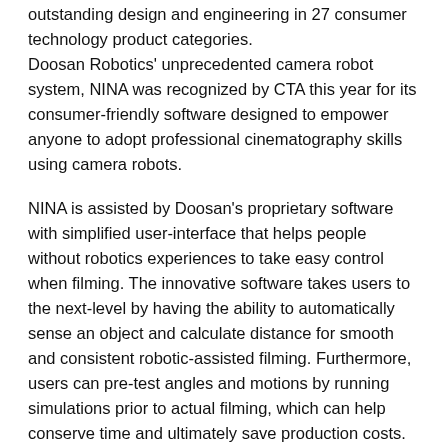outstanding design and engineering in 27 consumer technology product categories. Doosan Robotics' unprecedented camera robot system, NINA was recognized by CTA this year for its consumer-friendly software designed to empower anyone to adopt professional cinematography skills using camera robots.
NINA is assisted by Doosan's proprietary software with simplified user-interface that helps people without robotics experiences to take easy control when filming. The innovative software takes users to the next-level by having the ability to automatically sense an object and calculate distance for smooth and consistent robotic-assisted filming. Furthermore, users can pre-test angles and motions by running simulations prior to actual filming, which can help conserve time and ultimately save production costs.
Alongside internal elements, NINA also comes with award-